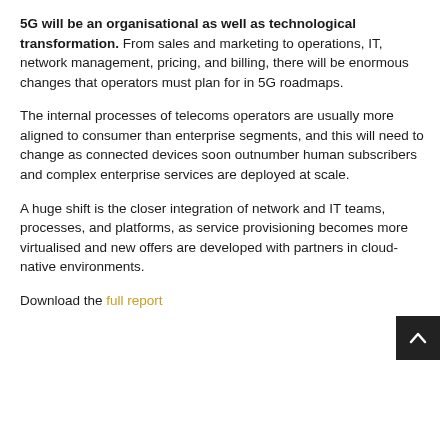5G will be an organisational as well as technological transformation. From sales and marketing to operations, IT, network management, pricing, and billing, there will be enormous changes that operators must plan for in 5G roadmaps.
The internal processes of telecoms operators are usually more aligned to consumer than enterprise segments, and this will need to change as connected devices soon outnumber human subscribers and complex enterprise services are deployed at scale.
A huge shift is the closer integration of network and IT teams, processes, and platforms, as service provisioning becomes more virtualised and new offers are developed with partners in cloud-native environments.
Download the full report